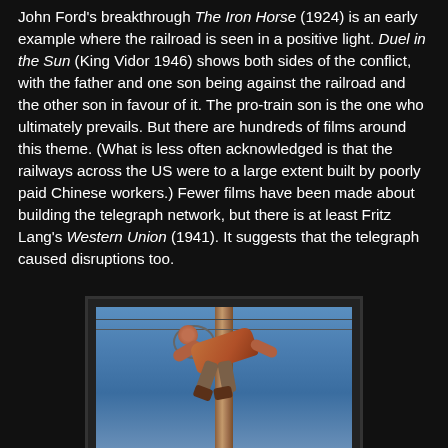John Ford's breakthrough The Iron Horse (1924) is an early example where the railroad is seen in a positive light. Duel in the Sun (King Vidor 1946) shows both sides of the conflict, with the father and one son being against the railroad and the other son in favour of it. The pro-train son is the one who ultimately prevails. But there are hundreds of films around this theme. (What is less often acknowledged is that the railways across the US were to a large extent built by poorly paid Chinese workers.) Fewer films have been made about building the telegraph network, but there is at least Fritz Lang's Western Union (1941). It suggests that the telegraph caused disruptions too.
[Figure (photo): A person draped over a tall wooden telegraph pole against a blue sky, with wires visible — a still from Fritz Lang's Western Union (1941).]